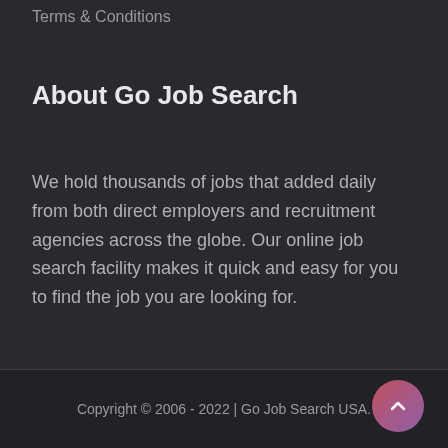Terms & Conditions
About Go Job Search
We hold thousands of jobs that added daily from both direct employers and recruitment agencies across the globe. Our online job search facility makes it quick and easy for you to find the job you are looking for.
Copyright © 2006 - 2022 | Go Job Search USA.